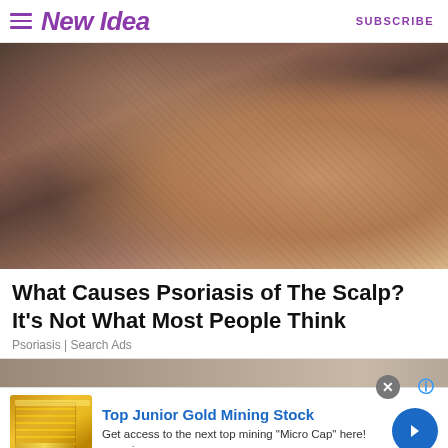New Idea  |  SUBSCRIBE
[Figure (photo): Close-up photograph of a person's scalp and the back of their head/neck showing gray hair and skin with visible psoriasis patches. A hand is seen scratching the scalp.]
What Causes Psoriasis of The Scalp? It's Not What Most People Think
Psoriasis | Search Ads
[Figure (photo): Partial view of a second article image, mostly cropped out at bottom of page.]
[Figure (other): Advertisement banner: Top Junior Gold Mining Stock. Get access to the next top mining "Micro Cap" here! www.rivres.com. Features gold bar image and blue arrow CTA button.]